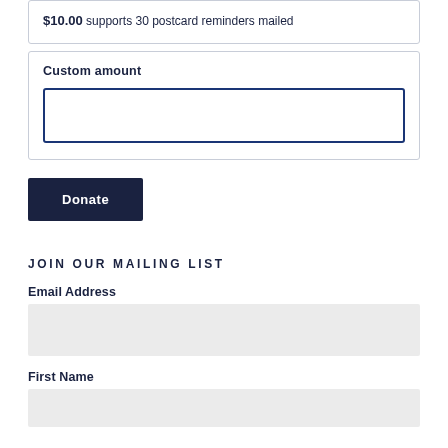$10.00 supports 30 postcard reminders mailed
Custom amount
[Custom amount input field]
Donate
JOIN OUR MAILING LIST
Email Address
[Email Address input field]
First Name
[First Name input field]